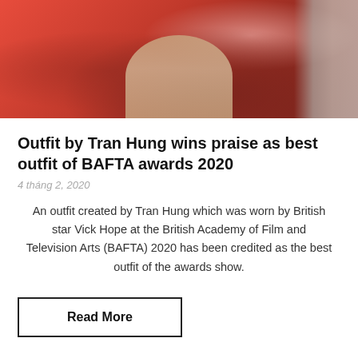[Figure (photo): Person wearing a red dress/gown on a red carpet, legs and lower body visible, with stone wall in background]
Outfit by Tran Hung wins praise as best outfit of BAFTA awards 2020
4 tháng 2, 2020
An outfit created by Tran Hung which was worn by British star Vick Hope at the British Academy of Film and Television Arts (BAFTA) 2020 has been credited as the best outfit of the awards show.
Read More